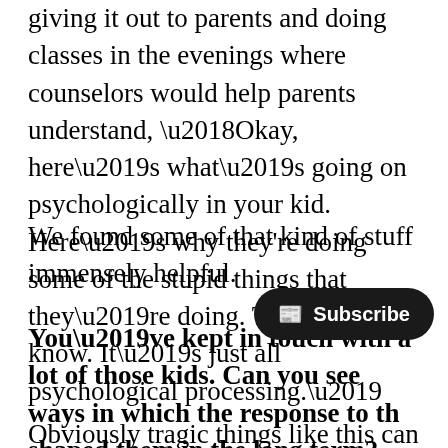giving it out to parents and doing classes in the evenings where counselors would help parents understand, ‘Okay, here’s what’s going on psychologically in your kid. Here’s why they're doing some of the stupid things that they’re doing. They don't know. It’s just all psychological processing.’
We found some of that kind of stuff  immensely helpful.
You’ve kept in touch with a lot of those kids. Can you see ways in which the response to th shaped them in the long term?
Obviously tragic things like this can be